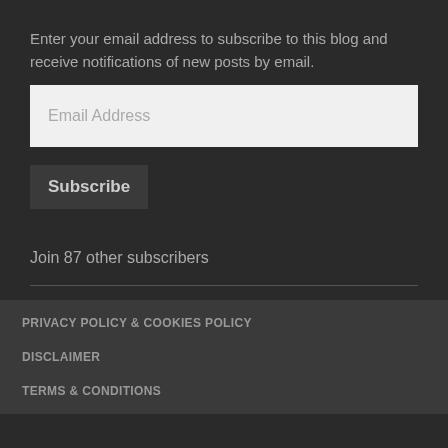Enter your email address to subscribe to this blog and receive notifications of new posts by email.
[Figure (other): Email address input field with placeholder text 'Email Address']
Subscribe
Join 87 other subscribers
PRIVACY POLICY & COOKIES POLICY
DISCLAIMER
TERMS & CONDITIONS